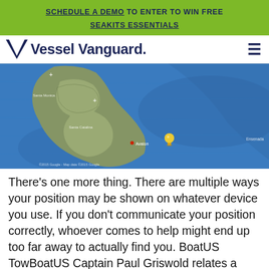SCHEDULE A DEMO TO ENTER TO WIN FREE SEAKITS ESSENTIALS
[Figure (logo): Vessel Vanguard logo with navigation bar and hamburger menu icon]
[Figure (map): Satellite/topographic map showing Catalina Island area near Avalon with a yellow map pin marker in the ocean]
There’s one more thing. There are multiple ways your position may be shown on whatever device you use. If you don’t communicate your position correctly, whoever comes to help might end up too far away to actually find you. BoatUS TowBoatUS Captain Paul Griswold relates a